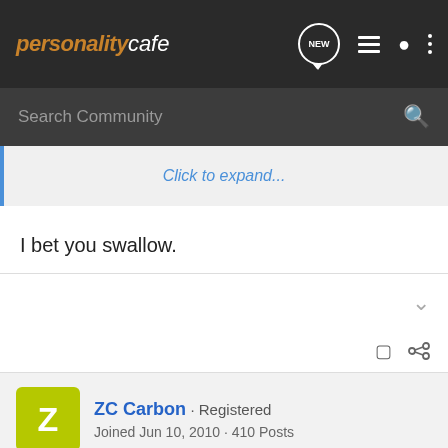personality cafe
Click to expand...
I bet you swallow.
ZC Carbon · Registered
Joined Jun 10, 2010 · 410 Posts
#11 · Aug 25, 2010